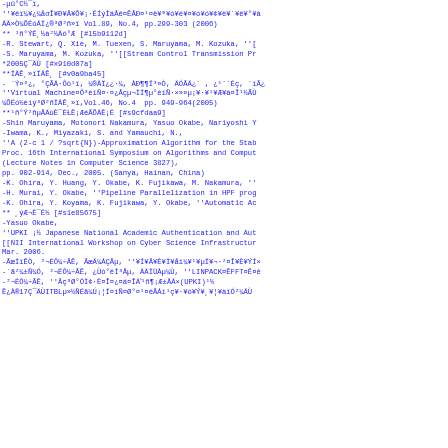-μû°C½¯ï,
''¥ëï¼¥¿¼åσÎ¥Ð¥Ã¥Ō¥¡·ÉÍýÌäÂê¤ÊÂÐ¤¹¤ë¥ª¥ó¥é¥¤¥ó¥ó¥¢¥ë¥´¥ê¥°¥à
ÄÄ»Ò¼ÕÉóÄÏ¿®³Ø²ñ»ï Vol.89, No.4, pp.299-303 (2006)
** ¹ñ°ÝÉ¸½à²½Äó°Æ [#l5b9112d]
-R. Stewart, Q. Xie, M. Tuexen, S. Maruyama, M. Kozuka, ''[
-S. Maruyama, M. Kozuka, ''[[Stream Control Transmission Pr
*2005Ç¯ÄÙ [#x910d07a]
**ÏÄÊ¸»ïÏÄÊ¸ [#v0a9ba45]
- ´Ý»³¿, °ÇÃÄ·Ôò¹ï, ¼®ÄÏ¿¿·¼, ÀÐ¶¶Í³»Ò, ÄÓÃÄ¿´ , ¿¹´´Éç, ´ïÃ¿
''Virtual Machine¤Ô³èíÑ¤·¤¿Âçµ¬ÌÏ¶µ°éíÑ·×»»µ¡¥·¥¹¥Æ¥à¤Î¹½ÃÙ
¼ÕÉó½èíý³Ø²ñÏÄÊ¸»ï,Vol.46, No.4  pp. 949-964(2005)
**¹ñ°Ý²ñµÃÄùÈ¯ÉȽÊ¡ÆéÃÕÄÊ¡Ë [#s9cfdaa9]
-Shin Maruyama, Motonori Nakamura, Yasuo Okabe, Nariyoshi Y
-Iwama, K., Miyazaki, S. and Yamauchi, N.,
''A (2-c 1 / ?sqrt{N})-Approximation Algorithm for the Stab
Proc. 16th International Symposium on Algorithms and Comput
(Lecture Notes in Computer Science 3827),
pp. 902-914, Dec., 2005. (Sanya, Hainan, China)
-K. Ohira, Y. Huang, Y. Okabe, K. Fujikawa, M. Nakamura, ''
-H. Murai, Y. Okabe, ''Pipeline Parallelization in HPF prog
-K. Ohira, Y. Koyama, K. Fujikawa, Y. Okabe, ''Automatic Ac
** ¸ýÆ¬È¯É½ [#s1e85675]
-Yasuo Okabe,
''UPKI ¡½ Japanese National Academic Authentication and Aut
[[NII International Workshop on Cyber Science Infrastructur
Mar. 2006.
-ÃæÌïÊÒ, ²¬ÉÔ¼÷ÃÊ, ÃæÄ¼ÁÇÂµ, ''¥Í¥Ã¥È¥Ï¥åï¼¥¹¥µÏ¥¬·²¤Î¥È¥ÝÍ×
-´ã²¼±Ñ¼Ó, ²¬ÉÔ¼÷ÃÊ, ¿Ùò°êÍ³Âµ, ÄÄÏÜÀµ¼Ù, ''LINPACK¤ÊFFT¤Ê¤è
-²¬ÉÔ¼÷ÃÊ, ''Âç³Ø°ÖÏ¢·È¤Î¤¿¤á¤ÎÁ˺¹ñ¶¡Æ±ÅÀ×(UPKI)¹½
Ê¿À®17Ç¯ÄÙITBLµ»½ÑÉã¼Ú¡¦Í¤íÑ¤Ø°¤¹¤ëÂÁï¹ç¥·¥ó¥Ý¥¸¥¦¥àïÓ²¼ÁÙ